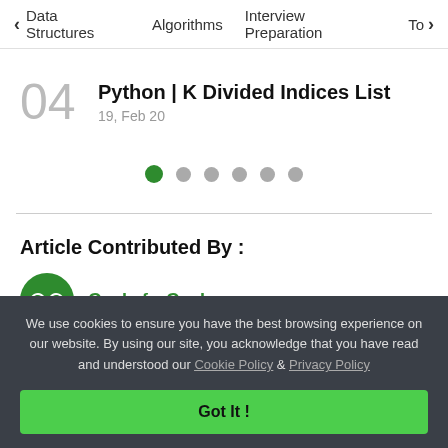< Data Structures   Algorithms   Interview Preparation   To>
04   Python | K Divided Indices List
19, Feb 20
[Figure (other): Pagination dots: 6 dots with the first dot highlighted in green and remaining five in grey]
Article Contributed By :
[Figure (logo): GeeksforGeeks circular green logo with GFG symbol]
GeeksforGeeks
We use cookies to ensure you have the best browsing experience on our website. By using our site, you acknowledge that you have read and understood our Cookie Policy & Privacy Policy
Got It !